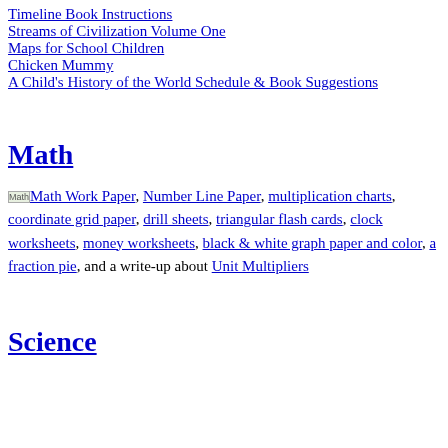Timeline Book Instructions
Streams of Civilization Volume One
Maps for School Children
Chicken Mummy
A Child's History of the World Schedule & Book Suggestions
Math
In the math section I have printable items such as Math Work Paper, Number Line Paper, multiplication charts, coordinate grid paper, drill sheets, triangular flash cards, clock worksheets, money worksheets, black & white graph paper and color, a fraction pie, and a write-up about Unit Multipliers
Science